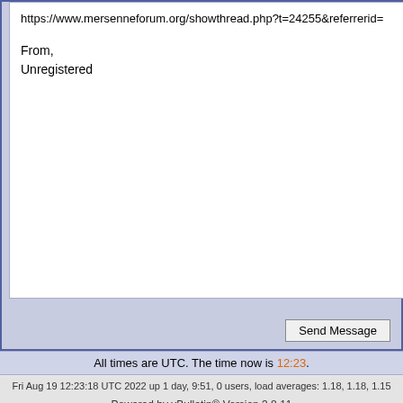https://www.mersenneforum.org/showthread.php?t=24255&referrerid=
From,
Unregistered
Send Message
All times are UTC. The time now is 12:23.
Fri Aug 19 12:23:18 UTC 2022 up 1 day, 9:51, 0 users, load averages: 1.18, 1.18, 1.15
Powered by vBulletin® Version 3.8.11
Copyright ©2000 - 2022, Jelsoft Enterprises Ltd.
This forum has received and complied with 0 (zero) government requests for information.
Permission is granted to copy, distribute and/or modify this document under the terms of the GNU Free Documentation License, Version 1.2 or any later version published by the Free Software Foundation.
A copy of the license is included in the FAQ.
≠ ± ∓ ÷ × · − √ ‰ ⊗ ⊕ ⊖ ⊘ ⊙ ≤ ≥ ≦ ≧ ≨ ≩ < > ≪ ≫ □ □ ⊑ ⊒ ²³°∠ ⌐ ° ≡ ~ ‖ ⊥ ⌠≡ ≜ = α ∞ ≪ ≫ || ‖ | · ∏ ∐ ∑ ∧ ∨ ∩ ∪ ⊙ ⊕ ⊗ ▒ ▓ ◁ ▷∅ \ C ↦ ↦ ∩ ∪ ⊆ ⊂ ∉ ⊆ ⊇ ⊃ ≠ ⊇ ⊖ ∈ ∉ ∋ ∌ N Z Q R C ↰ ∃ ⌐ ⌐¬ ∨ ∧ ⊕ → − ⇒ ⇐ ⇔ ∀ ∃ ∄ ∵ ∵ ⊤ ⊥ ⊢ ⊨ ⊢ ⊣ … ⋯ ⋮ ⋱ ⋰